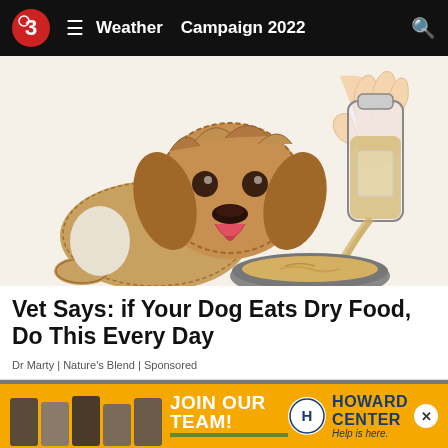Weather  Campaign 2022
[Figure (illustration): Illustration of a fluffy brown dog with tongue out, watching liquid being poured from a glass bottle into a metal dog bowl]
Vet Says: if Your Dog Eats Dry Food, Do This Every Day
Dr Marty | Nature's Blend | Sponsored
[Figure (photo): Partial photo of a person's face, dark hair, cropped]
[Figure (infographic): Howard Center advertisement banner: JOIN OUR TEAM! with group of people photos and Howard Center Help is here. logo]